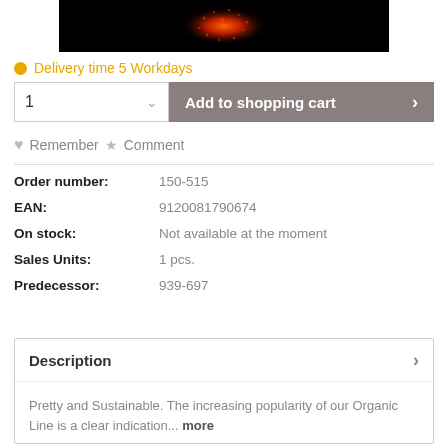[Figure (photo): Product photo of a red/orange glowing candle or decorative object on black background]
Delivery time 5 Workdays
1  Add to shopping cart >
Remember  Comment
| Label | Value |
| --- | --- |
| Order number: | 150-515 |
| EAN: | 9120081790674 |
| On stock: | Not available at the moment |
| Sales Units: | 1 pcs. |
| Predecessor: | 939-697 |
Description
Pretty and Sustainable. The increasing popularity of our Organic Line is a clear indication... more